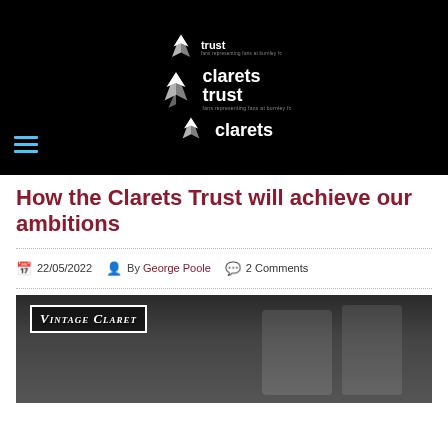[Figure (logo): Clarets Trust logo — bee/leaf icon with 'clarets trust' text and tagline 'fans representing fans at burnley fc', shown twice at different sizes plus a partial third instance. Black background header with hamburger menu icon.]
How the Clarets Trust will achieve our ambitions
22/05/2022   By George Poole   2 Comments
[Figure (photo): Two men standing in front of a 'Vintage Claret' shop sign, smiling at the camera outdoors.]